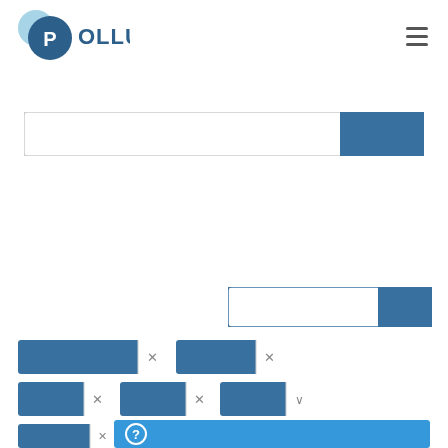[Figure (logo): Pollux logo with two overlapping circles (light blue and dark blue with white P) and text POLLUX in dark blue]
[Figure (screenshot): Hamburger menu icon (three horizontal lines) in top right]
[Figure (screenshot): Main search bar with white input area and dark blue search button on the right]
[Figure (screenshot): Smaller secondary search bar with white input and dark blue button, positioned right-center]
[Figure (screenshot): Two rows of blue filter/tag chips with X close buttons, and a partial third row, plus a blue help bar at the bottom with a question mark circle icon]